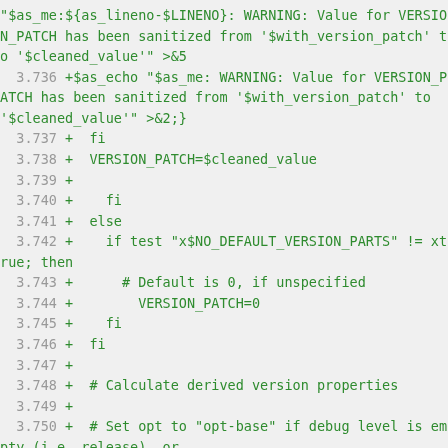"$as_me:${as_lineno-$LINENO}: WARNING: Value for VERSION_PATCH has been sanitized from '$with_version_patch' to '$cleaned_value'" >&5
  3.736 +$as_echo "$as_me: WARNING: Value for VERSION_PATCH has been sanitized from '$with_version_patch' to '$cleaned_value'" >&2;}
  3.737 +  fi
  3.738 +  VERSION_PATCH=$cleaned_value
  3.739 +
  3.740 +    fi
  3.741 +  else
  3.742 +    if test "x$NO_DEFAULT_VERSION_PARTS" != xtrue; then
  3.743 +      # Default is 0, if unspecified
  3.744 +        VERSION_PATCH=0
  3.745 +    fi
  3.746 +  fi
  3.747 +
  3.748 +  # Calculate derived version properties
  3.749 +
  3.750 +  # Set opt to "opt-base" if debug level is empty (i.e. release), or
  3.751 +  # "opt-base_debug-level" otherwise.